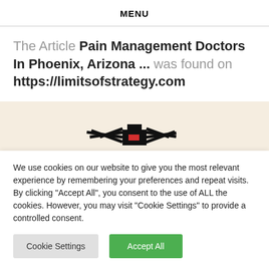MENU
The Article Pain Management Doctors In Phoenix, Arizona ... was found on https://limitsofstrategy.com
[Figure (illustration): Pixel art black and red spider on a beige/tan background banner]
We use cookies on our website to give you the most relevant experience by remembering your preferences and repeat visits. By clicking "Accept All", you consent to the use of ALL the cookies. However, you may visit "Cookie Settings" to provide a controlled consent.